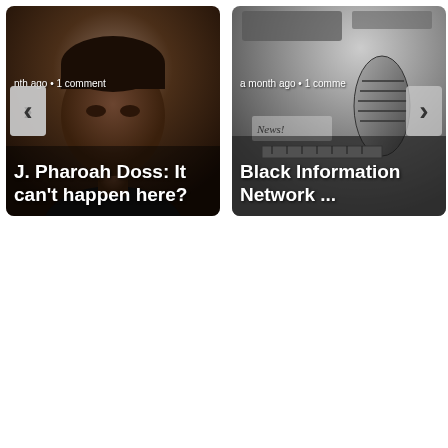[Figure (photo): Left carousel card showing a man's face/headshot photo with navigation arrows and overlaid text: 'a month ago • 1 comment' and title 'J. Pharoah Doss: It can't happen here?']
[Figure (photo): Right carousel card showing a radio microphone and news desk photo with navigation arrows and overlaid text: 'a month ago • 1 comment' and title 'Black Information Network ...']